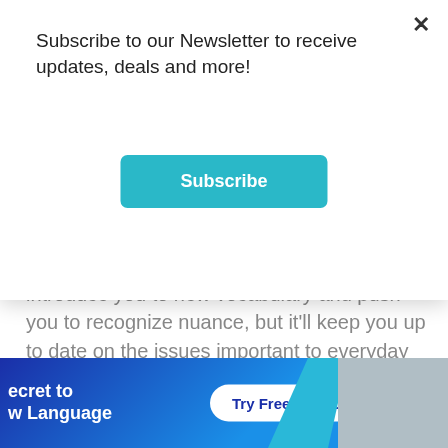Subscribe to our Newsletter to receive updates, deals and more!
[Figure (screenshot): Teal Subscribe button]
introduce you to new vocabulary and push you to recognize nuance, but it'll keep you up to date on the issues important to everyday Icelanders. Say halló to suddenly having something to talk about beyond the weather, or understanding the memes and hashtags that appear on social media.
Since every newspaper has its own editorial bent, it's worth reading a few to find ones that appeal to you.
[Figure (infographic): Bottom banner with 'ecret to w Language' text and 'Try Free for 7 Days' button on blue gradient background with photo on right]